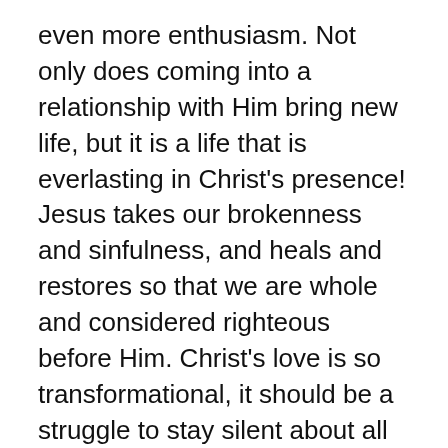even more enthusiasm. Not only does coming into a relationship with Him bring new life, but it is a life that is everlasting in Christ's presence! Jesus takes our brokenness and sinfulness, and heals and restores so that we are whole and considered righteous before Him. Christ's love is so transformational, it should be a struggle to stay silent about all the wonders He has done. Just as Peter and John replied to the Sanhedrin when ordered to stop speaking and teaching about Christ, so too should our response be the same. "For we cannot help speaking about what we have seen and heard." – (Acts 4:20) May we go forth in wonder, sharing of all that He has done.